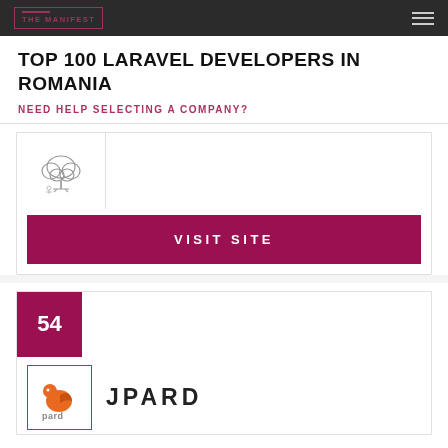THE MANIFEST
TOP 100 LARAVEL DEVELOPERS IN ROMANIA
NEED HELP SELECTING A COMPANY?
[Figure (logo): Tree/cloud illustration logo for a company]
VISIT SITE
54
[Figure (logo): JPARD company logo with bird/orange icon]
JPARD